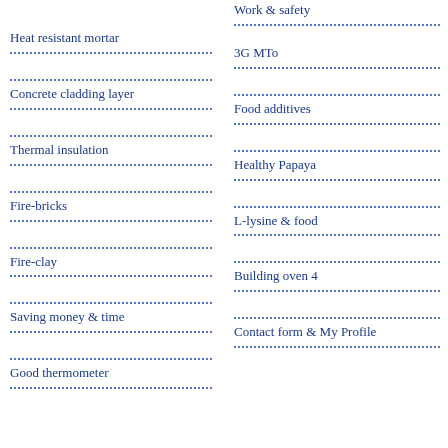Work & safety
Heat resistant mortar
3G MTo
Concrete cladding layer
Food additives
Thermal insulation
Healthy Papaya
Fire-bricks
L-lysine & food
Fire-clay
Building oven 4
Saving money & time
Contact form & My Profile
Good thermometer